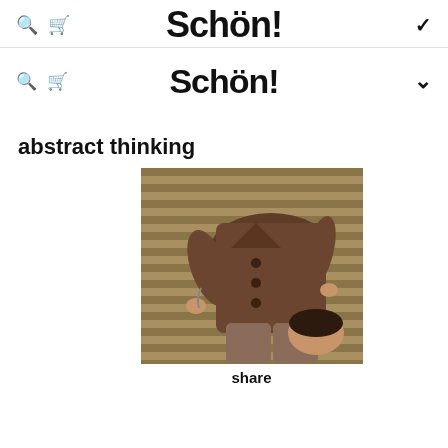Schön!
Schön!
abstract thinking
[Figure (photo): Person lying on their back on a striped surface wearing a brown double-breasted coat, photographed from above]
share